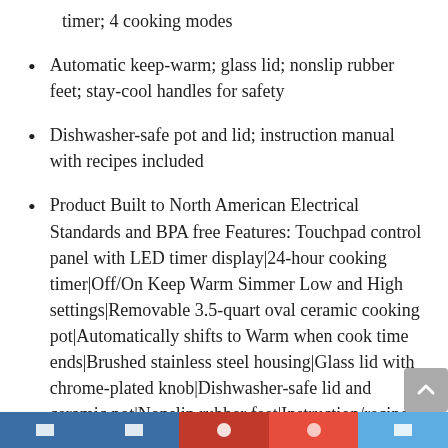timer; 4 cooking modes
Automatic keep-warm; glass lid; nonslip rubber feet; stay-cool handles for safety
Dishwasher-safe pot and lid; instruction manual with recipes included
Product Built to North American Electrical Standards and BPA free Features: Touchpad control panel with LED timer display|24-hour cooking timer|Off/On Keep Warm Simmer Low and High settings|Removable 3.5-quart oval ceramic cooking pot|Automatically shifts to Warm when cook time ends|Brushed stainless steel housing|Glass lid with chrome-plated knob|Dishwasher-safe lid and ceramic pot|Nonslip rubber feet|Instruction/recipe book|Limited 2-year warranty|BPA Free